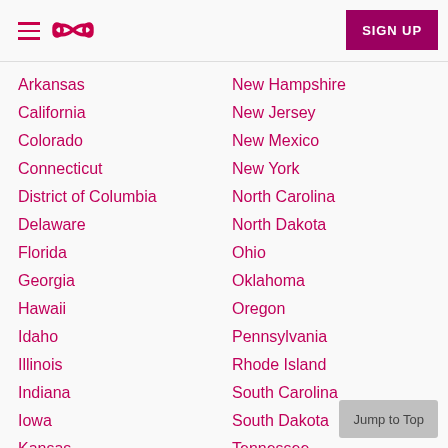SIGN UP
Arkansas
California
Colorado
Connecticut
District of Columbia
Delaware
Florida
Georgia
Hawaii
Idaho
Illinois
Indiana
Iowa
Kansas
New Hampshire
New Jersey
New Mexico
New York
North Carolina
North Dakota
Ohio
Oklahoma
Oregon
Pennsylvania
Rhode Island
South Carolina
South Dakota
Tennessee